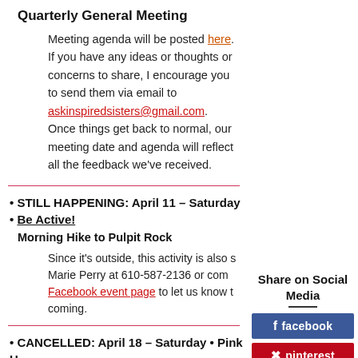Quarterly General Meeting
Meeting agenda will be posted here.  If you have any ideas or thoughts or concerns to share, I encourage you to send them via email to askinspiredsisters@gmail.com.  Once things get back to normal, our meeting date and agenda will reflect all the feedback we've received.
STILL HAPPENING: April 11 – Saturday • Be Active! Morning Hike to Pulpit Rock
Since it's outside, this activity is also [cut off] Marie Perry at 610-587-2136 or com[cut off] Facebook event page to let us know t[cut off] coming.
Share on Social Media
CANCELLED: April 18 – Saturday • Pink [cut off] Simulcast Conference Event